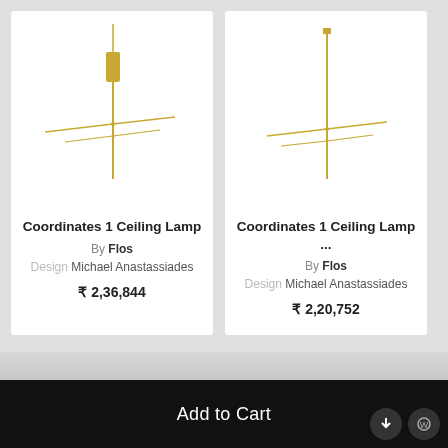[Figure (illustration): Coordinates 1 Ceiling Lamp product image - gold/brass minimalist ceiling lamp with horizontal arms and vertical rod, by Flos]
Coordinates 1 Ceiling Lamp
By Flos
Design Michael Anastassiades
₹ 2,36,844
[Figure (illustration): Coordinates 1 Ceiling Lamp variant product image - gold/brass minimalist ceiling lamp with horizontal arms and vertical rod, by Flos]
Coordinates 1 Ceiling Lamp ...
By Flos
Design Michael Anastassiades
₹ 2,20,752
Add to Cart